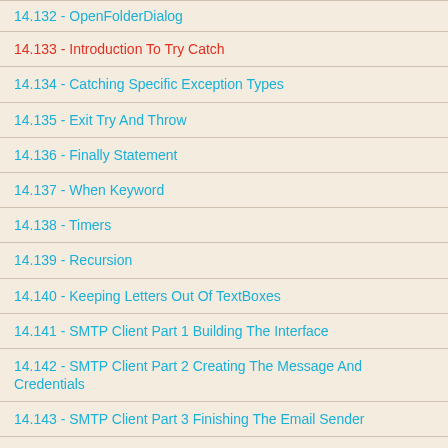14.132 - OpenFolderDialog
14.133 - Introduction To Try Catch
14.134 - Catching Specific Exception Types
14.135 - Exit Try And Throw
14.136 - Finally Statement
14.137 - When Keyword
14.138 - Timers
14.139 - Recursion
14.140 - Keeping Letters Out Of TextBoxes
14.141 - SMTP Client Part 1 Building The Interface
14.142 - SMTP Client Part 2 Creating The Message And Credentials
14.143 - SMTP Client Part 3 Finishing The Email Sender
14.144 - Threading
14.145 - Game Part 1 Class Libraries
14.146 - Game Part 2 Creating The Classes